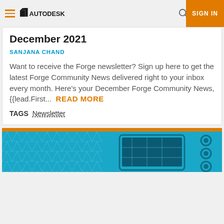AUTODESK — navigation bar with hamburger menu, logo, search, and SIGN IN button
December 2021
SANJANA CHAND
Want to receive the Forge newsletter? Sign up here to get the latest Forge Community News delivered right to your inbox every month. Here's your December Forge Community News, {{lead.First...  READ MORE
TAGS  Newsletter
[Figure (photo): Blue promotional banner with orange top bar, triangle geometric pattern on left, tablet/laptop device rendering in center, and circular interface icons on the right]